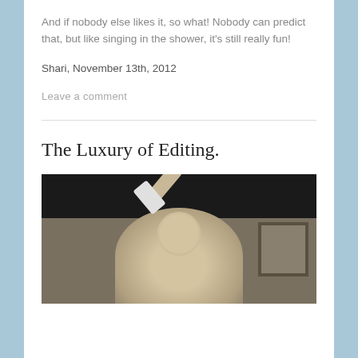And if nobody else likes it, so what! Nobody can predict that, but like singing in the shower, it's still really fun!
Shari, November 13th, 2012
Leave a comment
The Luxury of Editing.
[Figure (photo): An elderly person with white hair holding up an object (appears to be a book or tablet) in an indoor room setting with a framed painting on the wall in the background.]